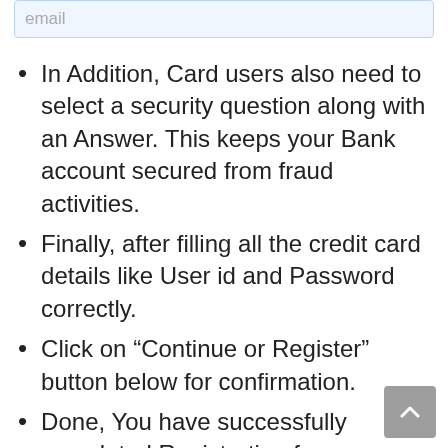[Figure (screenshot): Input field with placeholder text 'email', styled with light blue background and border]
In Addition, Card users also need to select a security question along with an Answer. This keeps your Bank account secured from fraud activities.
Finally, after filling all the credit card details like User id and Password correctly.
Click on “Continue or Register” button below for confirmation.
Done, You have successfully completed Registration for